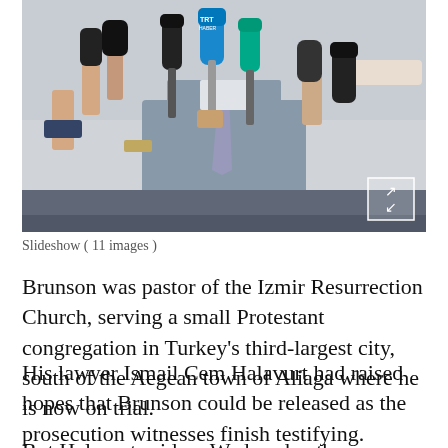[Figure (photo): Press conference photo showing a person in a suit surrounded by multiple microphones and recording devices held by reporters. Microphone brands visible include TRT.]
Slideshow ( 11 images )
Brunson was pastor of the Izmir Resurrection Church, serving a small Protestant congregation in Turkey's third-largest city, south of the Aegean town of Aliaga where he is now on trial.
His lawyer Ismail Cem Halavurt had raised hopes that Brunson could be released as the prosecution witnesses finish testifying.
But Halavurt said on Wednesday the prosecution has